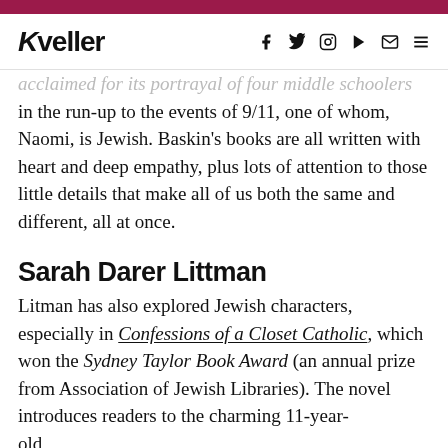Kveller
acclaimed for its portrayal of four middle schoolers in the run-up to the events of 9/11, one of whom, Naomi, is Jewish. Baskin's books are all written with heart and deep empathy, plus lots of attention to those little details that make all of us both the same and different, all at once.
Sarah Darer Littman
Litman has also explored Jewish characters, especially in Confessions of a Closet Catholic, which won the Sydney Taylor Book Award (an annual prize from Association of Jewish Libraries). The novel introduces readers to the charming 11-year-old...